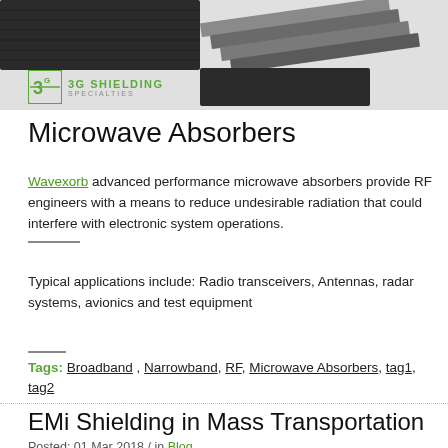[Figure (photo): Photo of microwave absorber materials including foam and flat sheets in grey/black tones, with 3G Shielding Specialties logo overlay]
Microwave Absorbers
Wavexorb advanced performance microwave absorbers provide RF engineers with a means to reduce undesirable radiation that could interfere with electronic system operations.
Typical applications include: Radio transceivers, Antennas, radar systems, avionics and test equipment
Tags: Broadband , Narrowband, RF, Microwave Absorbers, tag1, tag2
EMi Shielding in Mass Transportation
Posted: 01 Mar 2018 / in Blog